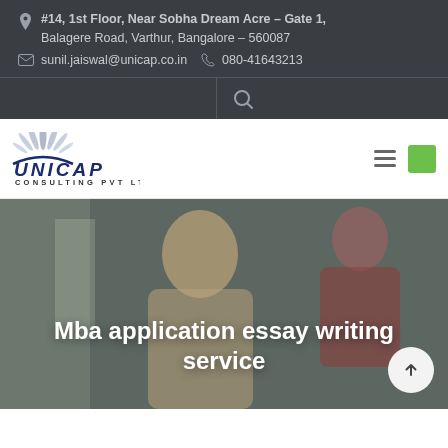#14, 1st Floor, Near Sobha Dream Acre - Gate 1, Balagere Road, Varthur, Bangalore - 560087 | sunil.jaiswal@unicap.co.in | 080-41643213
[Figure (logo): Unicap Consulting Pvt Ltd logo with peacock feather emblem above text UNICAP in dark blue italic with Consulting Pvt Ltd below]
Mba application essay writing service
[Figure (photo): Woman with long blonde hair looking up at camera, another person in red top behind her, office setting background]